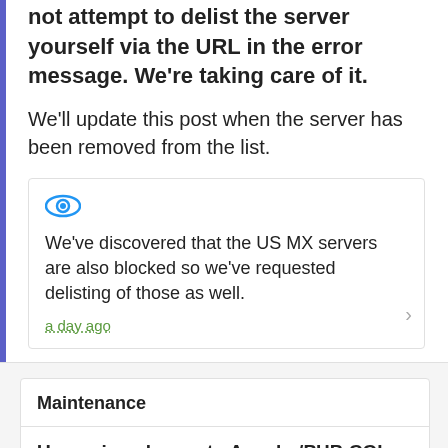not attempt to delist the server yourself via the URL in the error message. We're taking care of it.
We'll update this post when the server has been removed from the list.
We've discovered that the US MX servers are also blocked so we've requested delisting of those as well.
a day ago
Maintenance
Upcoming change to Apache/PHP-CGI apps 7 months ago